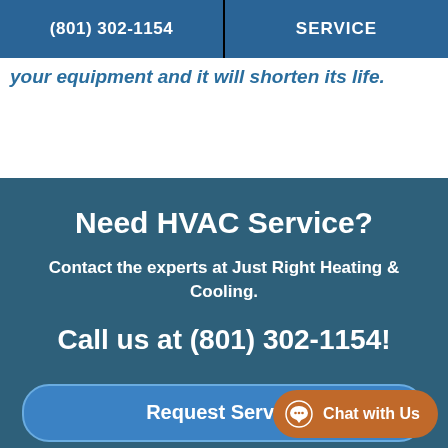(801) 302-1154  |  SERVICE
your equipment and it will shorten its life.
Need HVAC Service?
Contact the experts at Just Right Heating & Cooling.
Call us at (801) 302-1154!
Request Service
Chat with Us